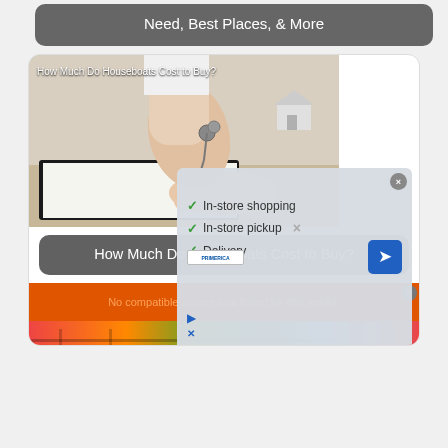[Figure (screenshot): Partial card at top with dark gray rounded rectangle showing text 'Need, Best Places, & More' in white]
[Figure (screenshot): Card with photo of hands exchanging keys over a house model and clipboard, with overlay text 'How Much Do Houseboats Cost to Buy?']
How Much Do Houseboats Cost to Buy?
[Figure (screenshot): Orange video player bar showing 'No compatible source was found for this media.' error message, with a colorful strip below showing shelves/products]
In-store shopping
In-store pickup
Delivery